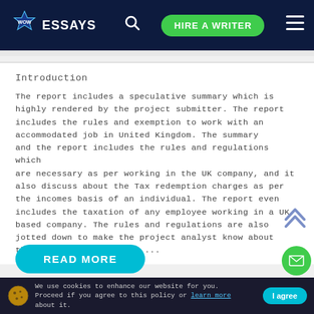WOW ESSAYS | HIRE A WRITER
Introduction
The report includes a speculative summary which is highly rendered by the project submitter. The report includes the rules and exemption to work with an accommodated job in United Kingdom. The summary and the report includes the rules and regulations which are necessary as per working in the UK company, and it also discuss about the Tax redemption charges as per the incomes basis of an individual. The report even includes the taxation of any employee working in a UK based company. The rules and regulations are also jotted down to make the project analyst know about the main factual finding ...
READ MORE
We use cookies to enhance our website for you. Proceed if you agree to this policy or learn more about it.